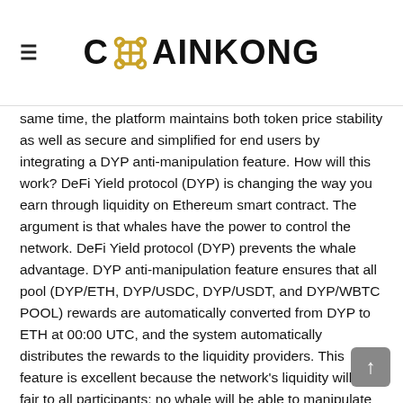≡ CHAINKONG
same time, the platform maintains both token price stability as well as secure and simplified for end users by integrating a DYP anti-manipulation feature. How will this work? DeFi Yield protocol (DYP) is changing the way you earn through liquidity on Ethereum smart contract. The argument is that whales have the power to control the network. DeFi Yield protocol (DYP) prevents the whale advantage. DYP anti-manipulation feature ensures that all pool (DYP/ETH, DYP/USDC, DYP/USDT, and DYP/WBTC POOL) rewards are automatically converted from DYP to ETH at 00:00 UTC, and the system automatically distributes the rewards to the liquidity providers. This feature is excellent because the network's liquidity will be fair to all participants; no whale will be able to manipulate the price of DYP to their advantage. Every day at 00:00 UTC, the smart contract will automatically try to convert the DYP rewards to ETH. If the DYP price is affected by more than -2.5%, then the maximum DYP amount that does not affect the price will be swapped to ETH, with the remaining amount distributed in the next day's rewards. After seven days, if there are still